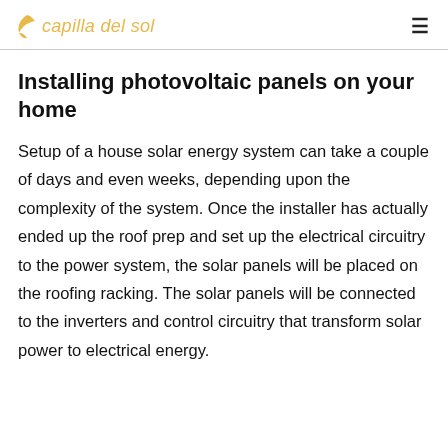capilla del sol
Installing photovoltaic panels on your home
Setup of a house solar energy system can take a couple of days and even weeks, depending upon the complexity of the system. Once the installer has actually ended up the roof prep and set up the electrical circuitry to the power system, the solar panels will be placed on the roofing racking. The solar panels will be connected to the inverters and control circuitry that transform solar power to electrical energy.